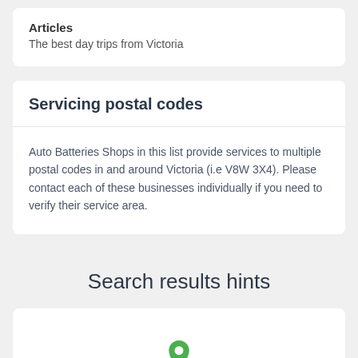Articles
The best day trips from Victoria
Servicing postal codes
Auto Batteries Shops in this list provide services to multiple postal codes in and around Victoria (i.e V8W 3X4). Please contact each of these businesses individually if you need to verify their service area.
Search results hints
[Figure (illustration): Green map pin / location marker icon]